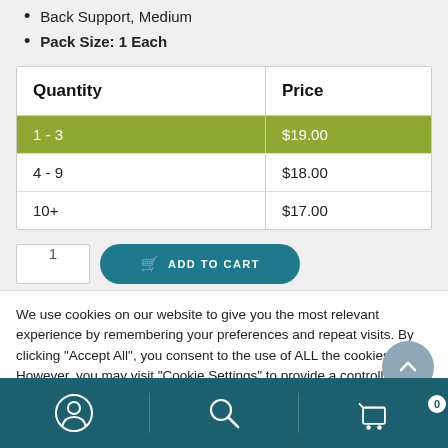Back Support, Medium
Pack Size: 1 Each
| Quantity | Price |
| --- | --- |
| 1 - 3 | $19.00 |
| 4 - 9 | $18.00 |
| 10+ | $17.00 |
We use cookies on our website to give you the most relevant experience by remembering your preferences and repeat visits. By clicking "Accept All", you consent to the use of ALL the cookies. However, you may visit "Cookie Settings" to provide a controlled consent.
[Figure (other): Bottom navigation bar with account, search, and cart icons]